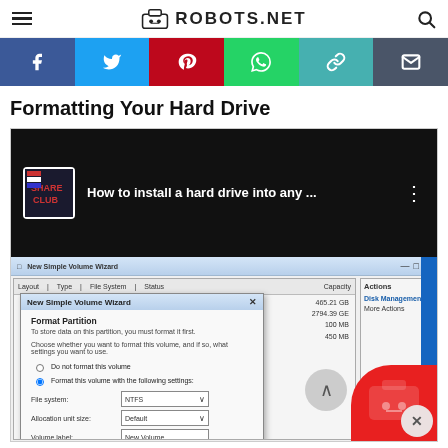ROBOTS.NET
[Figure (screenshot): Social media sharing bar with Facebook, Twitter, Pinterest, WhatsApp, link, and email buttons]
Formatting Your Hard Drive
[Figure (screenshot): Composite screenshot showing a YouTube video thumbnail for 'How to install a hard drive into any ...' overlaid with a Windows Disk Management Format Partition wizard dialog showing NTFS file system, Default allocation unit size, and New Volume label options]